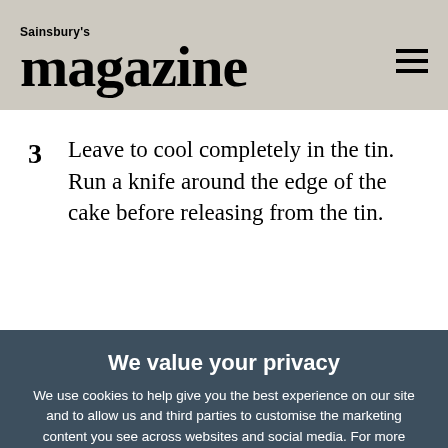Sainsbury's magazine
3  Leave to cool completely in the tin. Run a knife around the edge of the cake before releasing from the tin.
We value your privacy
We use cookies to help give you the best experience on our site and to allow us and third parties to customise the marketing content you see across websites and social media. For more information see our cookie policy.
Manage Preferences
Accept All Cookies